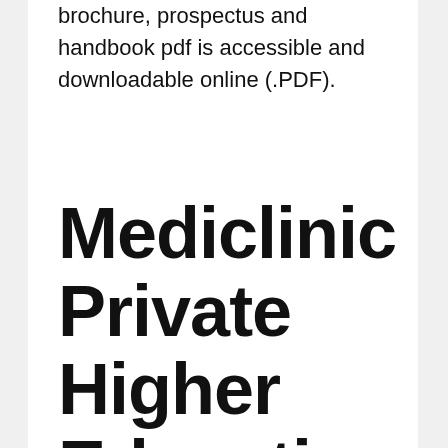brochure, prospectus and handbook pdf is accessible and downloadable online (.PDF).
Mediclinic Private Higher Education